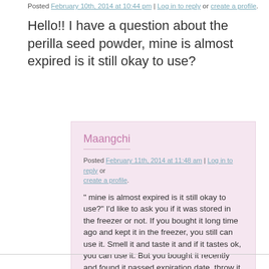Posted February 10th, 2014 at 10:44 pm | Log in to reply or create a profile.
Hello!! I have a question about the perilla seed powder, mine is almost expired is it still okay to use?
Maangchi
Posted February 11th, 2014 at 11:48 am | Log in to reply or create a profile.
" mine is almost expired is it still okay to use?" I'd like to ask you if it was stored in the freezer or not. If you bought it long time ago and kept it in the freezer, you still can use it. Smell it and taste it and if it tastes ok, you can use it. But you bought it recently and found it passed expiration date, throw it away.